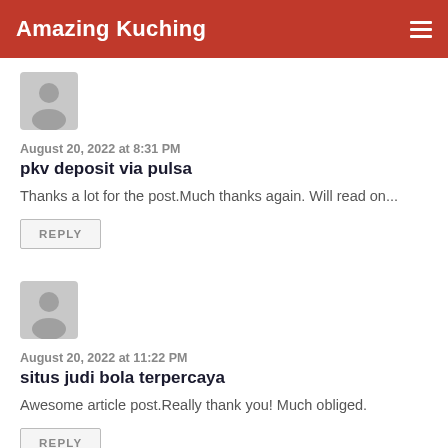Amazing Kuching
[Figure (illustration): Generic user avatar icon, grey background]
August 20, 2022 at 8:31 PM
pkv deposit via pulsa
Thanks a lot for the post.Much thanks again. Will read on...
REPLY
[Figure (illustration): Generic user avatar icon, grey background]
August 20, 2022 at 11:22 PM
situs judi bola terpercaya
Awesome article post.Really thank you! Much obliged.
REPLY